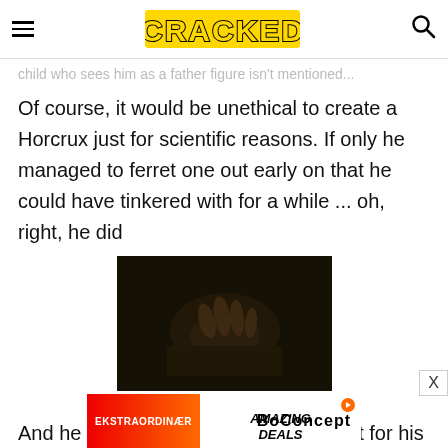CRACKED
child who sees him as a father figure isn't mentioned...
Of course, it would be unethical to create a Horcrux just for scientific reasons. If only he managed to ferret one out early on that he could have tinkered with for a while ... oh, right, he did
[Figure (photo): Dark cinematic still showing a hand holding or grasping an object, from Warner Bros. Pictures]
Warner Bros. Pictures
And he immediately attempted to use it for his own
[Figure (other): Advertisement banner: EKSTRAORDINÆR on red gradient left side, AMAZING DEALS text with BoConcept logo on white right side, with orange play button icon]